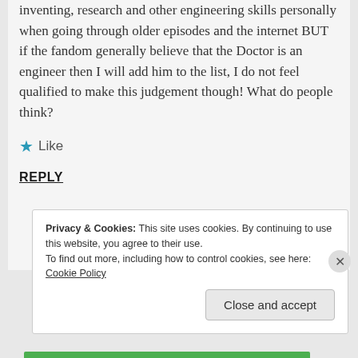inventing, research and other engineering skills personally when going through older episodes and the internet BUT if the fandom generally believe that the Doctor is an engineer then I will add him to the list, I do not feel qualified to make this judgement though! What do people think?
★ Like
REPLY
Privacy & Cookies: This site uses cookies. By continuing to use this website, you agree to their use.
To find out more, including how to control cookies, see here: Cookie Policy
Close and accept